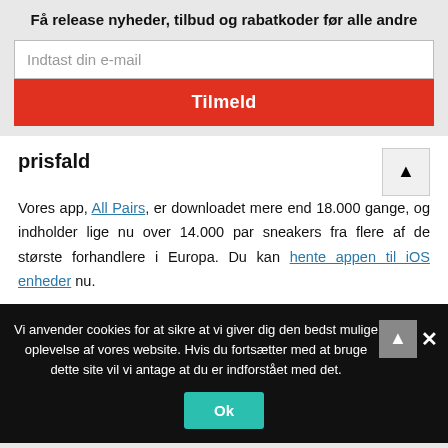Få release nyheder, tilbud og rabatkoder før alle andre
Indtast din e-mail
Tilmeld
prisfald
Vores app, All Pairs, er downloadet mere end 18.000 gange, og indholder lige nu over 14.000 par sneakers fra flere af de største forhandlere i Europa. Du kan hente appen til iOS enheder nu.
Vi anvender cookies for at sikre at vi giver dig den bedst mulige oplevelse af vores website. Hvis du fortsætter med at bruge dette site vil vi antage at du er indforstået med det.
Ok